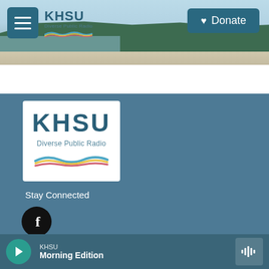[Figure (screenshot): KHSU website header with coastal landscape background, hamburger menu button, KHSU Diverse Public Radio logo, and Donate button]
[Figure (logo): KHSU Diverse Public Radio logo with colorful wave graphic on white background]
Stay Connected
[Figure (other): Facebook social media icon button (black circle with white f)]
© 2022 KHSU
About Us
[Figure (other): Audio player bar showing KHSU Morning Edition with play button and waveform icon]